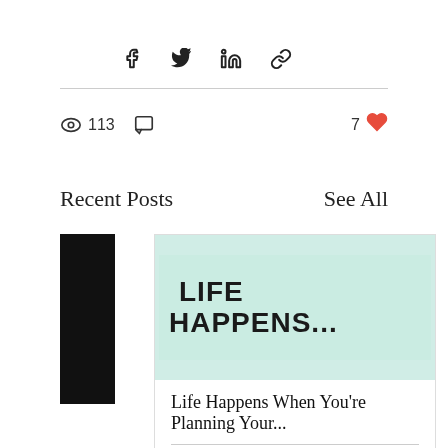[Figure (screenshot): Social media share bar with Facebook, Twitter, LinkedIn, and link icons]
113 views, 0 comments, 7 likes
Recent Posts
See All
[Figure (illustration): Blog post card with mint green background showing text 'LIFE HAPPENS...' in bold handwritten style, post title 'Life Happens When You're Planning Your...', stats: 28 views, 0 comments, 1 like]